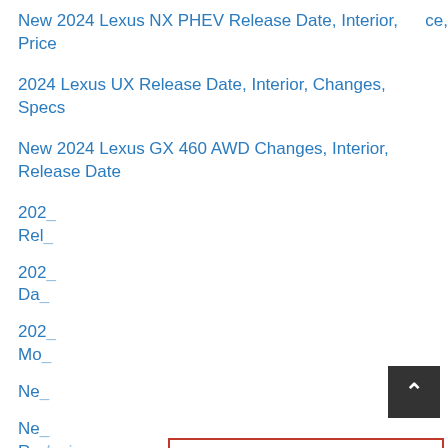New 2024 Lexus NX PHEV Release Date, Interior, Price
2024 Lexus UX Release Date, Interior, Changes, Specs
New 2024 Lexus GX 460 AWD Changes, Interior, Release Date
202_ Rel_...
202_ Da_...
202_ Mo_...
Ne_...
Ne_ ...ce, Redesign
[Figure (screenshot): Sponsored ad overlay with red border, 'Sponsored' title in monospace font, and a black X close button in the top right corner. White content area below.]